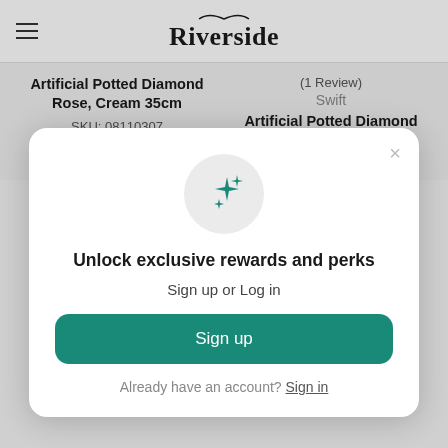Riverside
Artificial Potted Diamond Rose, Cream 35cm
SKU: 08110307
£13.99
(1 Review)
Swift
Artificial Potted Diamond Rose, Dark Yellow 35cm
SKU: 08110358
[Figure (infographic): Modal popup with sparkle icon in circle, heading 'Unlock exclusive rewards and perks', subtext 'Sign up or Log in', a teal Sign up button, and 'Already have an account? Sign in' link.]